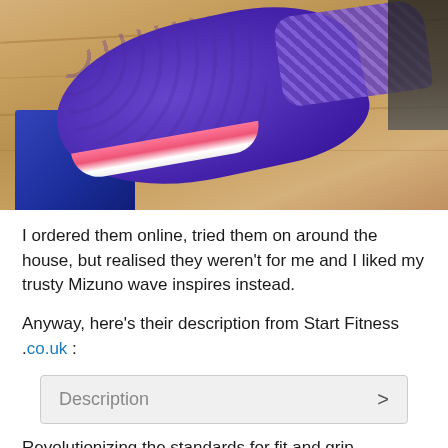[Figure (photo): Purple athletic running shoe (with pink/coral sole accent and purple laces) sitting partially in a dark blue shoe box, on a wooden floor background. Top-down angled view.]
I ordered them online, tried them on around the house, but realised they weren't for me and I liked my trusty Mizuno wave inspires instead.
Anyway, here's their description from Start Fitness .co.uk :
Description >
Revolutionizing the standards for fit and grip, combining lightweight, responsive cushioning with a